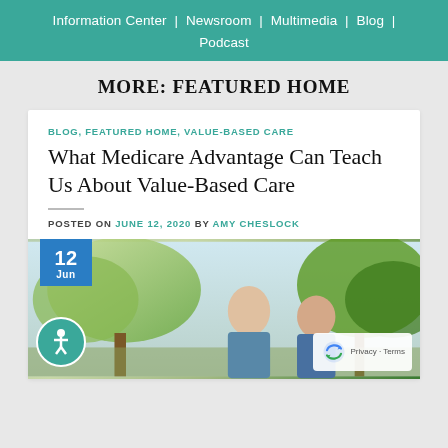Information Center | Newsroom | Multimedia | Blog | Podcast
MORE: FEATURED HOME
BLOG, FEATURED HOME, VALUE-BASED CARE
What Medicare Advantage Can Teach Us About Value-Based Care
POSTED ON JUNE 12, 2020 BY AMY CHESLOCK
[Figure (photo): Two elderly people smiling outdoors with trees in background, with a date badge showing 12 Jun in blue and an accessibility icon at bottom left]